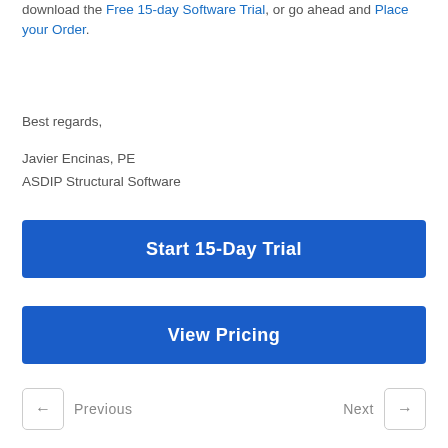download the Free 15-day Software Trial, or go ahead and Place your Order.
Best regards,
Javier Encinas, PE
ASDIP Structural Software
[Figure (other): Blue call-to-action button labeled 'Start 15-Day Trial']
[Figure (other): Blue call-to-action button labeled 'View Pricing']
← Previous    Next →